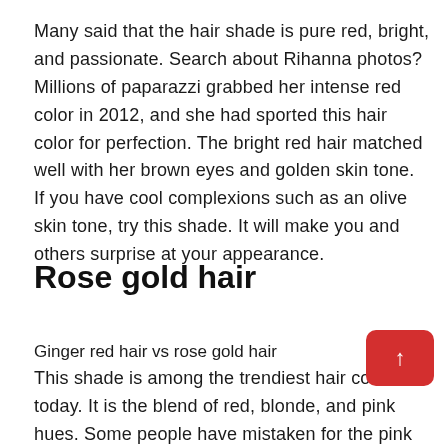Many said that the hair shade is pure red, bright, and passionate. Search about Rihanna photos? Millions of paparazzi grabbed her intense red color in 2012, and she had sported this hair color for perfection. The bright red hair matched well with her brown eyes and golden skin tone. If you have cool complexions such as an olive skin tone, try this shade. It will make you and others surprise at your appearance.
Rose gold hair
Ginger red hair vs rose gold hair
This shade is among the trendiest hair colors today. It is the blend of red, blonde, and pink hues. Some people have mistaken for the pink color. It works best for those with olive skin tone and all eye colors. Celebs are also attracted by this look, from Kiley Jenner to Emma Roberts. Use rose gold